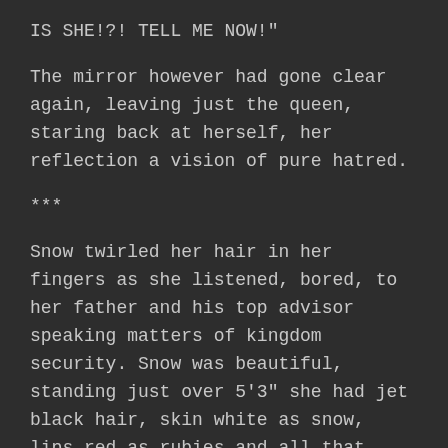IS SHE!?! TELL ME NOW!"
The mirror however had gone clear again, leaving just the queen, staring back at herself, her reflection a vision of pure hatred.
***
Snow twirled her hair in her fingers as she listened, bored, to her father and his top advisor speaking matters of kingdom security. Snow was beautiful, standing just over 5'3" she had jet black hair, skin white as snow, lips red as rubies and all that other shit the fairy tales mention, but more than that she had beautiful, firm 32C cup breasts, her nipples pressing hard against the thin fabric of her court gown. The gown hugged her body tightly giving a perfect view of her...